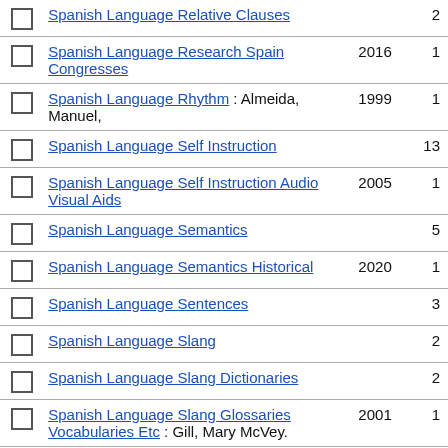Spanish Language Relative Clauses — count: 2
Spanish Language Research Spain Congresses — year: 2016, count: 1
Spanish Language Rhythm : Almeida, Manuel, — year: 1999, count: 1
Spanish Language Self Instruction — count: 13
Spanish Language Self Instruction Audio Visual Aids — year: 2005, count: 1
Spanish Language Semantics — count: 5
Spanish Language Semantics Historical — year: 2020, count: 1
Spanish Language Sentences — count: 3
Spanish Language Slang — count: 2
Spanish Language Slang Dictionaries — count: 2
Spanish Language Slang Glossaries Vocabularies Etc : Gill, Mary McVey. — year: 2001, count: 1